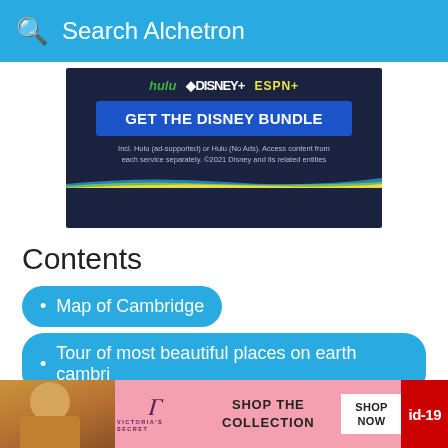Search Alchetron
[Figure (infographic): Disney Bundle advertisement showing Hulu, Disney+, ESPN+ logos, a 'GET THE DISNEY BUNDLE' blue button, and fine print about ad-supported and no-ads options. ©2021 Disney.]
Contents
Map of Cambridge
Tour of most beautiful places on earth cambri
Tw food cambridge massachusetts
P…
[Figure (infographic): Victoria's Secret bottom banner ad showing a model, Victoria's Secret logo, 'SHOP THE COLLECTION' text, 'SHOP NOW' button, and a red 'id-19' badge on the right.]